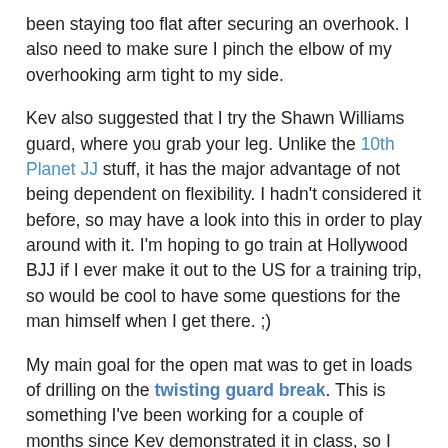been staying too flat after securing an overhook. I also need to make sure I pinch the elbow of my overhooking arm tight to my side.
Kev also suggested that I try the Shawn Williams guard, where you grab your leg. Unlike the 10th Planet JJ stuff, it has the major advantage of not being dependent on flexibility. I hadn't considered it before, so may have a look into this in order to play around with it. I'm hoping to go train at Hollywood BJJ if I ever make it out to the US for a training trip, so would be cool to have some questions for the man himself when I get there. ;)
My main goal for the open mat was to get in loads of drilling on the twisting guard break. This is something I've been working for a couple of months since Kev demonstrated it in class, so I was keen to take the opportunity to iron out some kinks. Kev directed me to a white belt who also wanted to work his guard passing, so after showing him the pass, we drilled it a bunch of times each, adding in some resistance later.